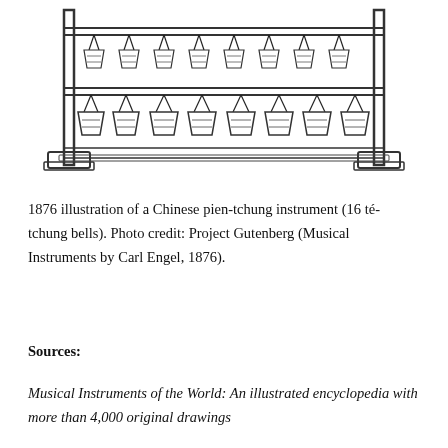[Figure (illustration): 1876 black-and-white engraving of a Chinese pien-tchung instrument showing a wooden rack frame with two horizontal bars from which 16 té-tchung bells hang by cords, arranged in two rows. The frame stands on two rectangular wooden feet.]
1876 illustration of a Chinese pien-tchung instrument (16 té-tchung bells). Photo credit: Project Gutenberg (Musical Instruments by Carl Engel, 1876).
Sources:
Musical Instruments of the World: An illustrated encyclopedia with more than 4,000 original drawings